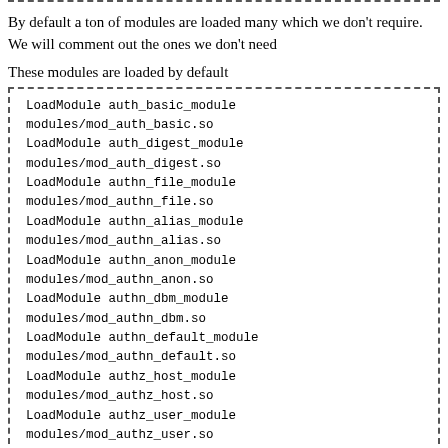By default a ton of modules are loaded many which we don't require. We will comment out the ones we don't need
These modules are loaded by default
LoadModule auth_basic_module
modules/mod_auth_basic.so
LoadModule auth_digest_module
modules/mod_auth_digest.so
LoadModule authn_file_module
modules/mod_authn_file.so
LoadModule authn_alias_module
modules/mod_authn_alias.so
LoadModule authn_anon_module
modules/mod_authn_anon.so
LoadModule authn_dbm_module
modules/mod_authn_dbm.so
LoadModule authn_default_module
modules/mod_authn_default.so
LoadModule authz_host_module
modules/mod_authz_host.so
LoadModule authz_user_module
modules/mod_authz_user.so
LoadModule authz_owner_module
modules/mod_authz_owner.so